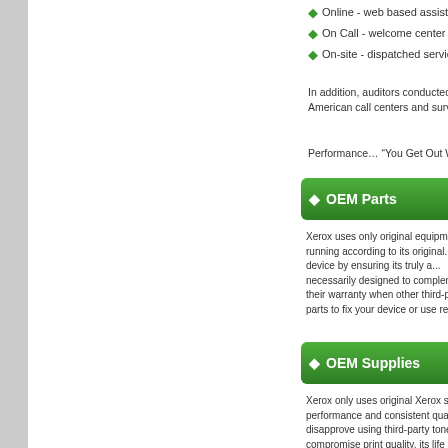Online - web based assistance
On Call - welcome center supp
On-site - dispatched service
In addition, auditors conducted se... American call centers and survey...
Performance… “You Get Out Wha...
OEM Parts
Xerox uses only original equipme... is running according to its original... your device by ensuring its truly a... necessarily designed to complem... their warranty when other third-pa... parts to fix your device or use rem...
OEM Supplies
Xerox only uses original Xerox su... performance and consistent quali... disapprove using third-party toner... compromise print quality, its life s...